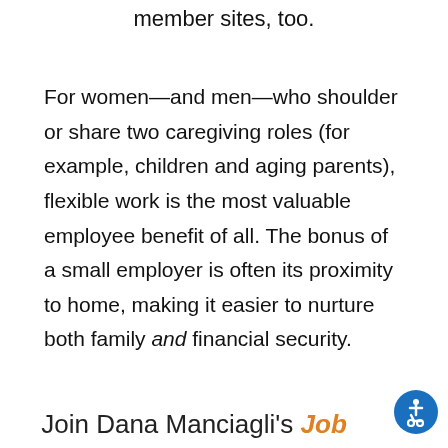member sites, too.
For women—and men—who shoulder or share two caregiving roles (for example, children and aging parents), flexible work is the most valuable employee benefit of all. The bonus of a small employer is often its proximity to home, making it easier to nurture both family and financial security.
Join Dana Manciagli's Job